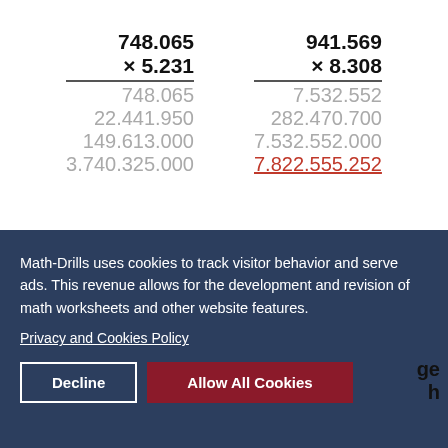[Figure (math-figure): Two long multiplication problems side by side. Left: 748.065 × 5.231 with partials 748.065, 22.441.950, 149.613.000, 3.740.325.000. Right: 941.569 × 8.308 with partials 7.532.552, 282.470.700, 7.532.552.000, answer 7.822.555.252 in red underlined.]
Math-Drills uses cookies to track visitor behavior and serve ads. This revenue allows for the development and revision of math worksheets and other website features.
Privacy and Cookies Policy
Decline
Allow All Cookies